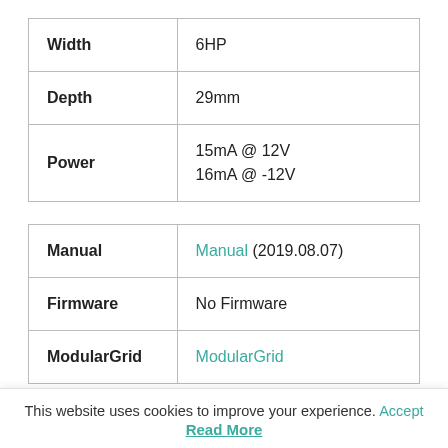|  |  |
| --- | --- |
| Width | 6HP |
| Depth | 29mm |
| Power | 15mA @ 12V
16mA @ -12V |
|  |  |
| --- | --- |
| Manual | Manual (2019.08.07) |
| Firmware | No Firmware |
| ModularGrid | ModularGrid |
This website uses cookies to improve your experience. Accept
Read More